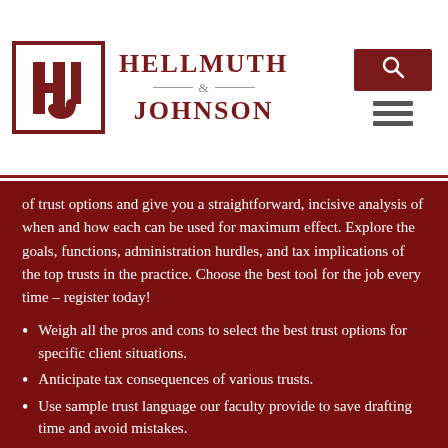[Figure (logo): Hellmuth & Johnson law firm logo with H-J monogram in a bordered box and firm name text]
of trust options and give you a straightforward, incisive analysis of when and how each can be used for maximum effect. Explore the goals, functions, administration hurdles, and tax implications of the top trusts in the practice. Choose the best tool for the job every time – register today!
Weigh all the pros and cons to select the best trust options for specific client situations.
Anticipate tax consequences of various trusts.
Use sample trust language our faculty provide to save drafting time and avoid mistakes.
Clarify the powers and duties of trustees in different trusts.
Compare living and testamentary trusts for straightforward estate planning.